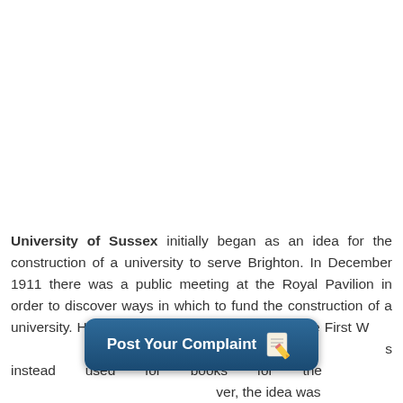University of Sussex initially began as an idea for the construction of a university to serve Brighton. In December 1911 there was a public meeting at the Royal Pavilion in order to discover ways in which to fund the construction of a university. However, the project was halted by the First W... s instead used for books for the ... ver, the idea was
[Figure (other): A dark blue rounded button/banner reading 'Post Your Complaint' with a notepad and pencil icon on the right side.]